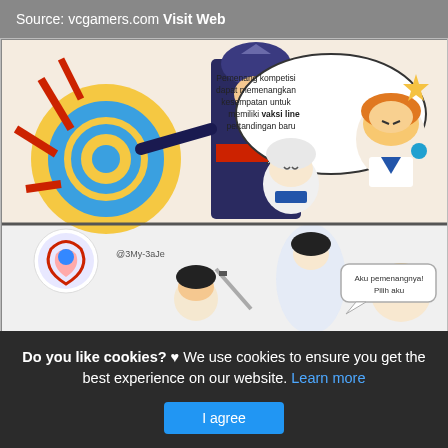Source: vcgamers.com Visit Web
[Figure (illustration): Anime/manga style comic strip featuring game characters. Top panel: character in dark armor pointing/speaking with speech bubble in Indonesian text 'Pemenang kompetisi dapat memenangkan kesempatan untuk memiliki vaksi line pertandingan baru'. Characters include a girl in white with silver hair, a girl with orange hair in sailor outfit, and a sun/wave logo on left. Bottom panel: characters with swords and more anime figures with speech bubble 'Aku pemenangnya! Pilih aku']
Do you like cookies? ♥ We use cookies to ensure you get the best experience on our website. Learn more
I agree